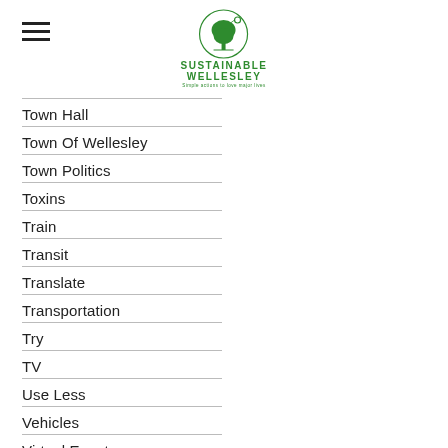[Figure (logo): Sustainable Wellesley logo with tree icon and tagline]
Town Hall
Town Of Wellesley
Town Politics
Toxins
Train
Transit
Translate
Transportation
Try
TV
Use Less
Vehicles
Virtual Event
Volunteer